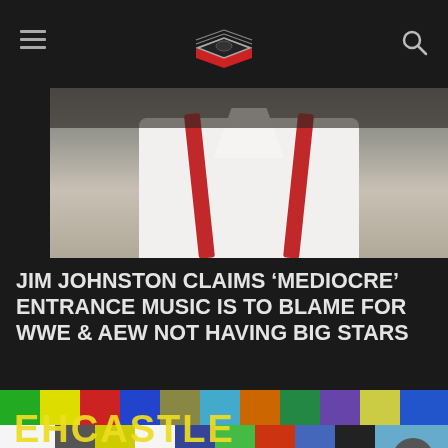Wrestling news website header with hamburger menu, logo (wrestling ring icon), and search icon
[Figure (photo): Man in white shirt with red suspenders, upper body shot against dark background]
JIM JOHNSTON CLAIMS 'MEDIOCRE' ENTRANCE MUSIC IS TO BLAME FOR WWE & AEW NOT HAVING BIG STARS
[Figure (photo): Clash at the Castle event signage with colorful block lettering showing 'EHCASTLE' and 'CLASH CASTLE' logo with colorful mosaic background. A circular back-to-top button visible in bottom right.]